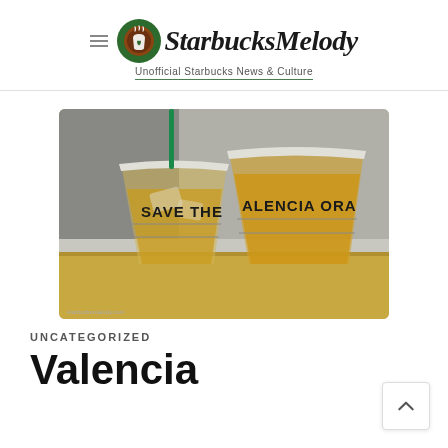StarbucksMelody — Unofficial Starbucks News & Culture
[Figure (photo): Two Starbucks plastic iced cups with orange/yellow beverage. Left cup has 'SAVE THE' written on it in marker; right cup has 'ALENCIA ORAN' (Valencia Orange) written on it in marker. Cups are sitting on a light wood table surface.]
UNCATEGORIZED
Valencia